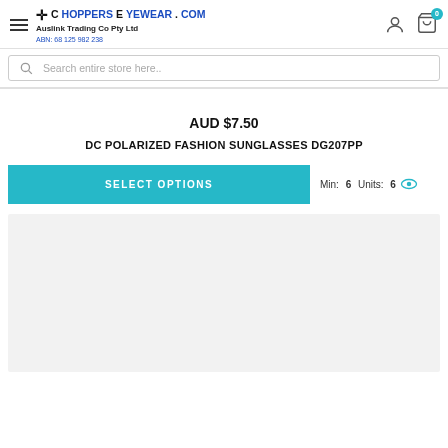ChoppersEyewear.com — Auslink Trading Co Pty Ltd — ABN: 68 125 982 238
AUD $7.50
DC POLARIZED FASHION SUNGLASSES DG207PP
SELECT OPTIONS   Min: 6  Units: 6
[Figure (photo): Product image area placeholder (light grey background)]